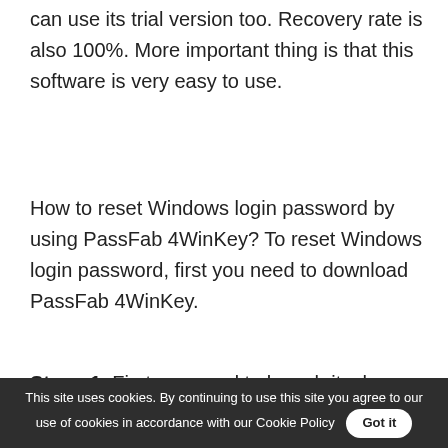can use its trial version too. Recovery rate is also 100%. More important thing is that this software is very easy to use.
How to reset Windows login password by using PassFab 4WinKey? To reset Windows login password, first you need to download PassFab 4WinKey.
Stage 1: First you need to launch it, choose boot media we will choose USB.
[Figure (screenshot): Screenshot of PassFab 4WinKey (Ultimate) application window with a green promotional banner for PassFab Computer Management showing 'NEW' badge, with options for Boot Up Unbootable Computer, Password Reset, Data Recovery in One Software Suite.]
This site uses cookies. By continuing to use this site you agree to our use of cookies in accordance with our Cookie Policy  Got it